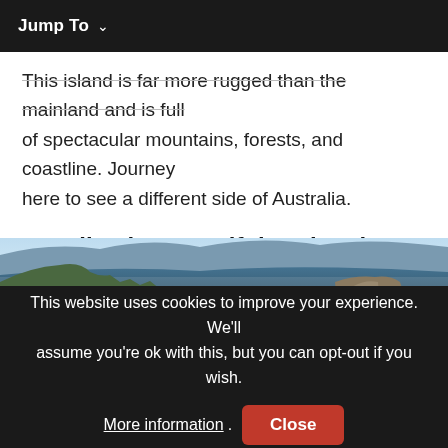Jump To ∨
This island is far more rugged than the mainland and is full of spectacular mountains, forests, and coastline. Journey here to see a different side of Australia.
10. Hike the Beautiful National Parks!
[Figure (photo): Panoramic landscape photo of a dramatic canyon with rocky cliffs, forested valleys, and a blue sky with clouds — likely the Blue Mountains in Australia.]
This website uses cookies to improve your experience. We'll assume you're ok with this, but you can opt-out if you wish. More information. Close